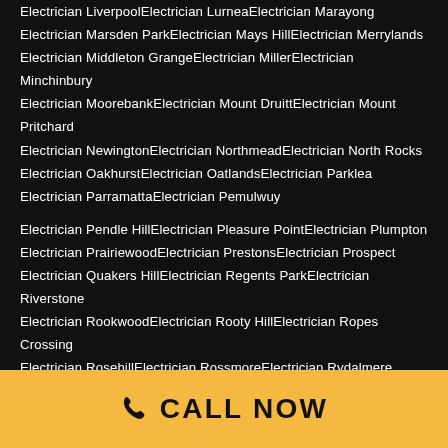Electrician LiverpoolElectrician LurneaElectrician Marayong
Electrician Marsden ParkElectrician Mays HillElectrician Merrylands
Electrician Middleton GrangeElectrician MillerElectrician Minchinbury
Electrician MoorebankElectrician Mount DruittElectrician Mount Pritchard
Electrician NewingtonElectrician NorthmeadElectrician North Rocks
Electrician OakhurstElectrician OatlandsElectrician Parklea
Electrician ParramattaElectrician Pemulwuy
Electrician Pendle HillElectrician Pleasure PointElectrician Plumpton
Electrician PrairiewoodElectrician PrestonsElectrician Prospect
Electrician Quakers HillElectrician Regents ParkElectrician Riverstone
Electrician RookwoodElectrician Rooty HillElectrician Ropes Crossing
Electrician RosehillElectrician RossmoreElectrician Rydalmere
Electrician SadleirElectrician SchofieldsElectrician Seven Hills
Electrician ShalveyElectrician SilverwaterElectrician Smithfield
Electrician Stanhope GardensElectrician St Johns Park
Electrician Sydney Olympic ParkElectrician TelopeaElectrician The Ponds
Electrician ToongabbieElectrician TregearElectrician Villawood
Electrician Voyager PointElectrician WaksleyElectrician Warwick Farm
CALL NOW